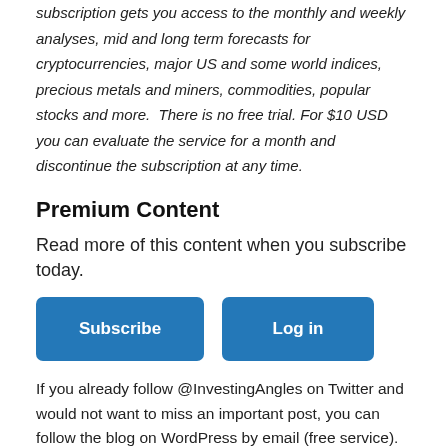subscription gets you access to the monthly and weekly analyses, mid and long term forecasts for cryptocurrencies, major US and some world indices, precious metals and miners, commodities, popular stocks and more. There is no free trial. For $10 USD you can evaluate the service for a month and discontinue the subscription at any time.
Premium Content
Read more of this content when you subscribe today.
Subscribe | Log in
If you already follow @InvestingAngles on Twitter and would not want to miss an important post, you can follow the blog on WordPress by email (free service). In this case, all posts will be sent to your inbox directly, including those with Premium Content. The Premium